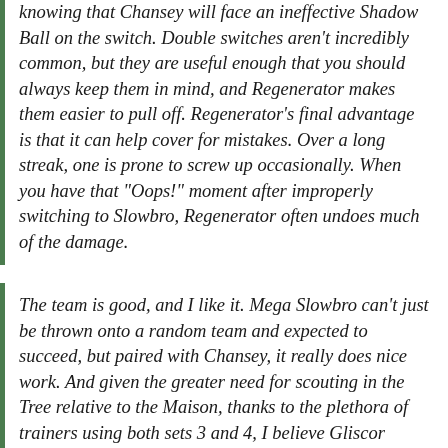knowing that Chansey will face an ineffective Shadow Ball on the switch. Double switches aren't incredibly common, but they are useful enough that you should always keep them in mind, and Regenerator makes them easier to pull off. Regenerator's final advantage is that it can help cover for mistakes. Over a long streak, one is prone to screw up occasionally. When you have that "Oops!" moment after improperly switching to Slowbro, Regenerator often undoes much of the damage.
The team is good, and I like it. Mega Slowbro can't just be thrown onto a random team and expected to succeed, but paired with Chansey, it really does nice work. And given the greater need for scouting in the Tree relative to the Maison, thanks to the plethora of trainers using both sets 3 and 4, I believe Gliscor clearly earns its keep over